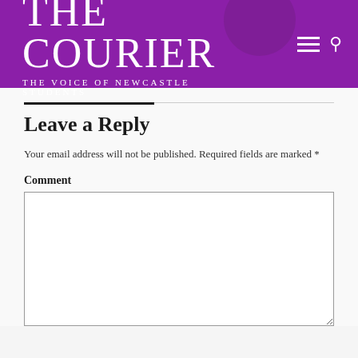THE COURIER
THE VOICE OF NEWCASTLE STUDENTS
Leave a Reply
Your email address will not be published. Required fields are marked *
Comment